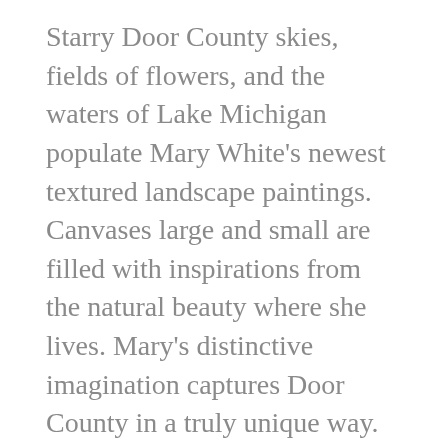Starry Door County skies, fields of flowers, and the waters of Lake Michigan populate Mary White's newest textured landscape paintings. Canvases large and small are filled with inspirations from the natural beauty where she lives. Mary's distinctive imagination captures Door County in a truly unique way. Mary has taken up an artists residency at our new location in downtown Egg Harbor absorbing the the exciting energy of the new space!
Lizbeth Quebe's oil paintings capture the capture the personality of her subject whether it be a cow, a stunning pastoral landscape, or